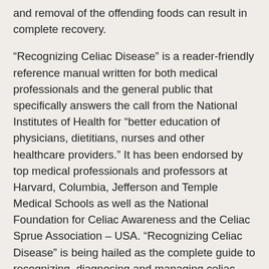and removal of the offending foods can result in complete recovery.
“Recognizing Celiac Disease” is a reader-friendly reference manual written for both medical professionals and the general public that specifically answers the call from the National Institutes of Health for “better education of physicians, dietitians, nurses and other healthcare providers.” It has been endorsed by top medical professionals and professors at Harvard, Columbia, Jefferson and Temple Medical Schools as well as the National Foundation for Celiac Awareness and the Celiac Sprue Association – USA. “Recognizing Celiac Disease” is being hailed as the complete guide to recognizing, diagnosing and managing celiac disease and a must-have for physicians, dietitians, nutritionists, nurses, patients and anyone with an interest in this complex disorder.
Editor’s Note: Recognizing Celiac Disease has been expanded upon and converted into an online resource, The Gluten Free Works Treatment Guide